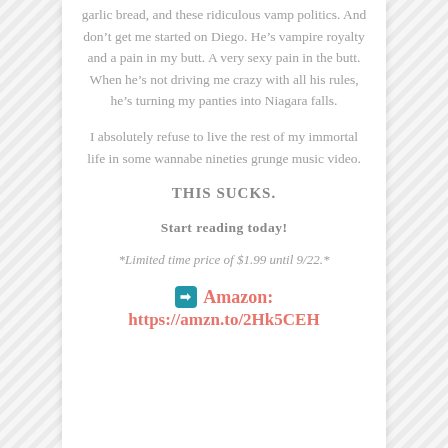garlic bread, and these ridiculous vamp politics. And don't get me started on Diego. He's vampire royalty and a pain in my butt. A very sexy pain in the butt. When he's not driving me crazy with all his rules, he's turning my panties into Niagara falls.
I absolutely refuse to live the rest of my immortal life in some wannabe nineties grunge music video.
THIS SUCKS.
Start reading today!
*Limited time price of $1.99 until 9/22.*
➡ Amazon: https://amzn.to/2Hk5CEH